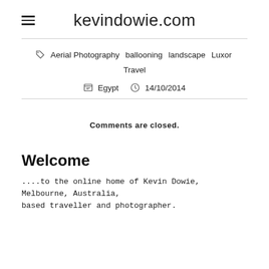kevindowie.com
Aerial Photography  ballooning  landscape  Luxor  Travel
Egypt  14/10/2014
Comments are closed.
Welcome
....to the online home of Kevin Dowie, Melbourne, Australia, based traveller and photographer.